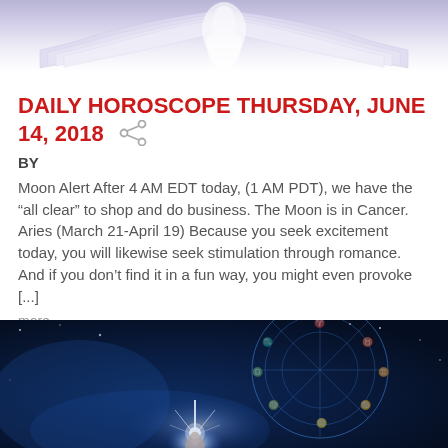[Figure (photo): Top portion of an open book with white pages fanned out, glowing light effect, purple/white tones]
DAILY HOROSCOPE THURSDAY, JUNE 14, 2018
BY
Moon Alert After 4 AM EDT today, (1 AM PDT), we have the "all clear" to shop and do business. The Moon is in Cancer. Aries (March 21-April 19) Because you seek excitement today, you will likewise seek stimulation through romance. And if you don't find it in a fun way, you might even provoke [...]
more
[Figure (photo): Dark blue mystical astrology background with glowing zodiac wheel symbols, hand pointing with light burst effect]